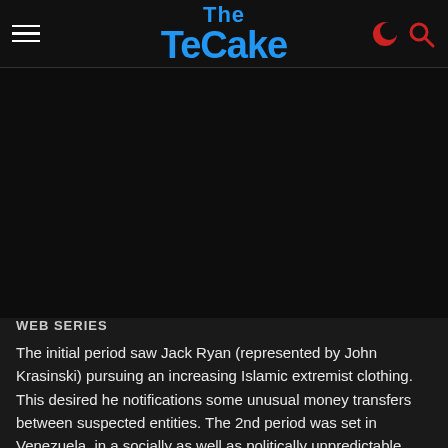The TeCake
[Figure (photo): Dark/black image area placeholder for a web series article image]
WEB SERIES
The initial period saw Jack Ryan (represented by John Krasinski) pursuing an increasing Islamic extremist clothing. This desired he notifications some unusual money transfers between suspected entities. The 2nd period was set in Venezuela, in a socially as well as politically unpredictable front. This